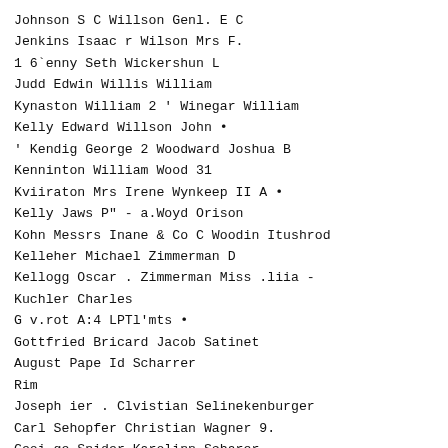Johnson S C Willson Genl. E C
Jenkins Isaac r Wilson Mrs F.
1 6`enny Seth Wickershun L
Judd Edwin Willis William
Kynaston William 2 ' Winegar William
Kelly Edward Willson John •
' Kendig George 2 Woodward Joshua B
Kenninton William Wood 31
Kviiraton Mrs Irene Wynkeep II A •
Kelly Jaws P" - a.Woyd Orison
Kohn Messrs Inane & Co C Woodin Itushrod
Kelleher Michael Zimmerman D
Kellogg Oscar . Zimmerman Miss .liia -
Kuchler Charles
G v.rot A:4 LPTl'mts •
Gottfried Bricard Jacob Satinet
August Pape Id Scharrer
Rim
Joseph ier . Clvistian Selinekenburger
Carl Sehopfer Christian Wagner 9.
Geoi ge Snider Karolinn Scharer
dole. Hines . Carl Needh rue Schurnacrk 2
Andrea, Seifert Joseph Kist
Ernest Moth or Frederick Mr Ileminerlin